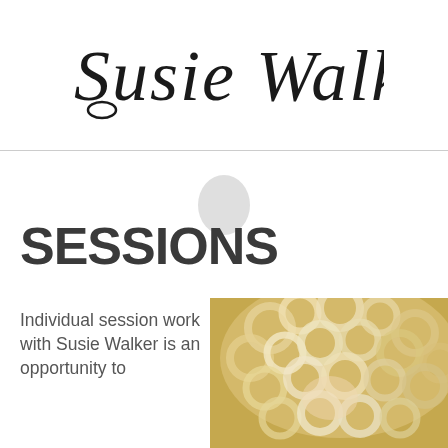Susie Walker
SESSIONS
Individual session work with Susie Walker is an opportunity to
[Figure (photo): Close-up photo of a person with curly blonde/white hair, viewed from above or side angle]